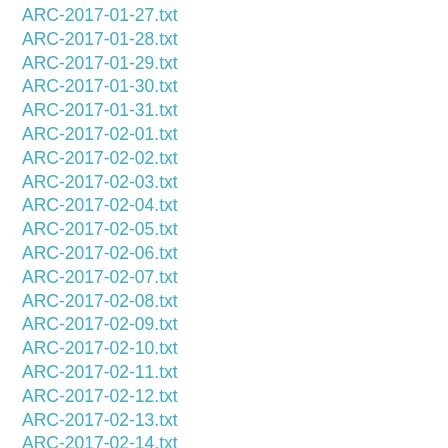ARC-2017-01-27.txt
ARC-2017-01-28.txt
ARC-2017-01-29.txt
ARC-2017-01-30.txt
ARC-2017-01-31.txt
ARC-2017-02-01.txt
ARC-2017-02-02.txt
ARC-2017-02-03.txt
ARC-2017-02-04.txt
ARC-2017-02-05.txt
ARC-2017-02-06.txt
ARC-2017-02-07.txt
ARC-2017-02-08.txt
ARC-2017-02-09.txt
ARC-2017-02-10.txt
ARC-2017-02-11.txt
ARC-2017-02-12.txt
ARC-2017-02-13.txt
ARC-2017-02-14.txt
ARC-2017-02-15.txt
ARC-2017-02-16.txt
ARC-2017-02-17.txt
ARC-2017-02-18.txt